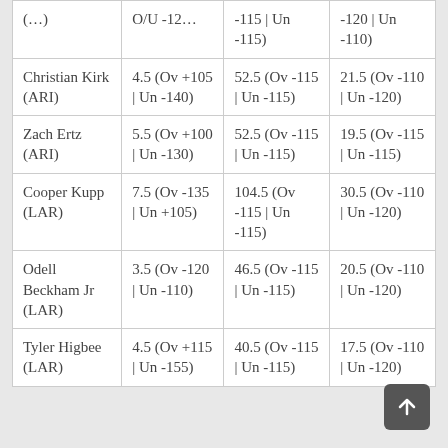| (…) | O/U -12… | -115 | Un -115) | -120 | Un -110) |
| Christian Kirk (ARI) | 4.5 (Ov +105 | Un -140) | 52.5 (Ov -115 | Un -115) | 21.5 (Ov -110 | Un -120) |
| Zach Ertz (ARI) | 5.5 (Ov +100 | Un -130) | 52.5 (Ov -115 | Un -115) | 19.5 (Ov -115 | Un -115) |
| Cooper Kupp (LAR) | 7.5 (Ov -135 | Un +105) | 104.5 (Ov -115 | Un -115) | 30.5 (Ov -110 | Un -120) |
| Odell Beckham Jr (LAR) | 3.5 (Ov -120 | Un -110) | 46.5 (Ov -115 | Un -115) | 20.5 (Ov -110 | Un -120) |
| Tyler Higbee (LAR) | 4.5 (Ov +115 | Un -155) | 40.5 (Ov -115 | Un -115) | 17.5 (Ov -110 | Un -120) |